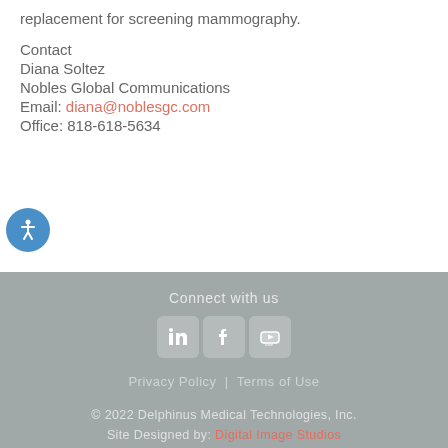replacement for screening mammography.
Contact
Diana Soltez
Nobles Global Communications
Email: diana@noblesgc.com
Office: 818-618-5634
[Figure (other): Accessibility icon button — blue circle with white human figure (universal accessibility symbol)]
Connect with us
LinkedIn | Facebook | YouTube
Privacy Policy | Terms of Use
© 2022 Delphinus Medical Technologies, Inc.
Site Designed by: Digital Image Studios